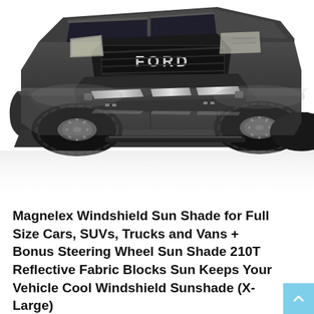[Figure (photo): A dark gray Ford F-150 Raptor pickup truck shown from a front three-quarter angle on a white background with a mirror reflection beneath it.]
Magnelex Windshield Sun Shade for Full Size Cars, SUVs, Trucks and Vans + Bonus Steering Wheel Sun Shade 210T Reflective Fabric Blocks Sun Keeps Your Vehicle Cool Windshield Sunshade (X-Large)